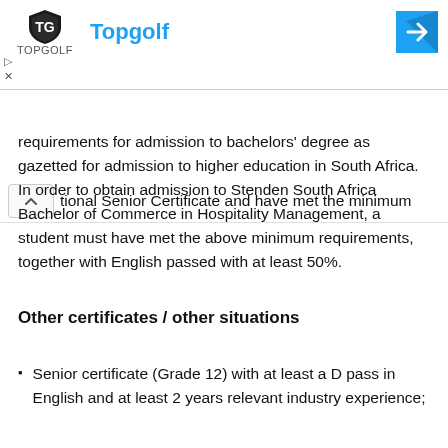[Figure (other): Topgolf advertisement banner with logo, brand name in blue, and directional arrow icon]
tional Senior Certificate and have met the minimum requirements for admission to bachelors' degree as gazetted for admission to higher education in South Africa. In order to obtain admission to Stenden South Africa Bachelor of Commerce in Hospitality Management, a student must have met the above minimum requirements, together with English passed with at least 50%.
Other certificates / other situations
Senior certificate (Grade 12) with at least a D pass in English and at least 2 years relevant industry experience;
Senior Certificate (Grade 12) with at least a D pass in English and one successful tertiary academic year in a related field. The programme must be registered with SAQA having at least 120 credits at NQF level